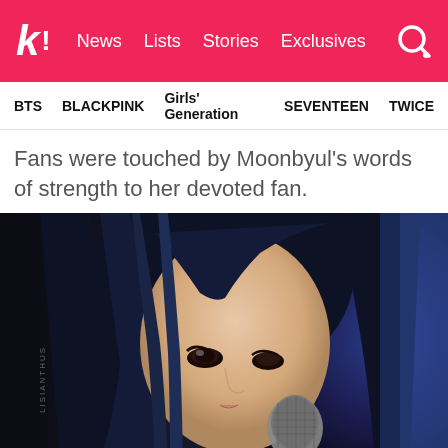k! News  Lists  Stories  Exclusives
BTS  BLACKPINK  Girls' Generation  SEVENTEEN  TWICE
Fans were touched by Moonbyul's words of strength to her devoted fan.
[Figure (photo): Korean female singer/idol Moonbyul performing on stage, holding a black microphone close to her mouth, with long dark hair with blue highlights, wearing a light blue outfit, against a dark background with blue lighting on the right side. Watermark text 'LISIANTHUS' visible on the left side.]